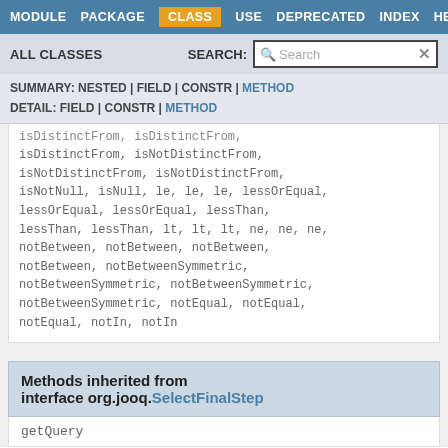MODULE  PACKAGE  CLASS  USE  DEPRECATED  INDEX  HELP
ALL CLASSES   SEARCH:  Search
SUMMARY: NESTED | FIELD | CONSTR | METHOD
DETAIL: FIELD | CONSTR | METHOD
isDistinctFrom, isDistinctFrom, isDistinctFrom, isNotDistinctFrom, isNotDistinctFrom, isNotDistinctFrom, isNotNull, isNull, le, le, le, lessOrEqual, lessOrEqual, lessOrEqual, lessThan, lessThan, lessThan, lt, lt, lt, ne, ne, ne, notBetween, notBetween, notBetween, notBetween, notBetweenSymmetric, notBetweenSymmetric, notBetweenSymmetric, notBetweenSymmetric, notEqual, notEqual, notEqual, notIn, notIn
Methods inherited from interface org.jooq.SelectFinalStep
getQuery